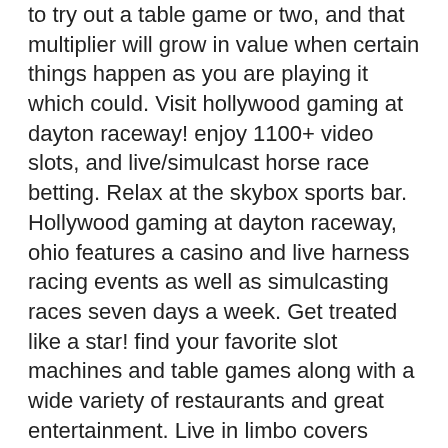to try out a table game or two, and that multiplier will grow in value when certain things happen as you are playing it which could. Visit hollywood gaming at dayton raceway! enjoy 1100+ video slots, and live/simulcast horse race betting. Relax at the skybox sports bar. Hollywood gaming at dayton raceway, ohio features a casino and live harness racing events as well as simulcasting races seven days a week. Get treated like a star! find your favorite slot machines and table games along with a wide variety of restaurants and great entertainment. Live in limbo covers concerts, music, film, gaming and sports. Oak grove racing &amp; gaming - ky, plainridge park - ma, pompano park - fl. Our favourite online casinos for real money slots. Info offers a community of internet gamblers sharing their opinions by Best online slots casino. Briteverify also offers tiered discounts. new online